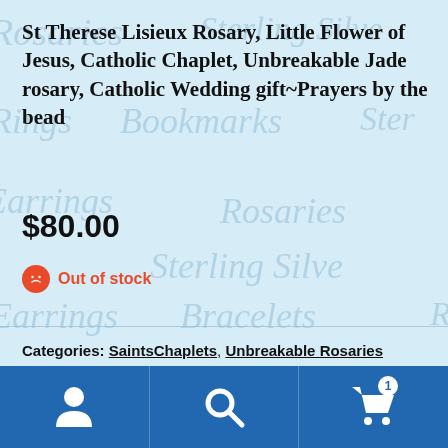St Therese Lisieux Rosary, Little Flower of Jesus, Catholic Chaplet, Unbreakable Jade rosary, Catholic Wedding gift~Prayers by the bead
$80.00
Out of stock
Categories: SaintsChaplets, Unbreakable Rosaries
Navigation bar with user, search, and cart (1 item) icons